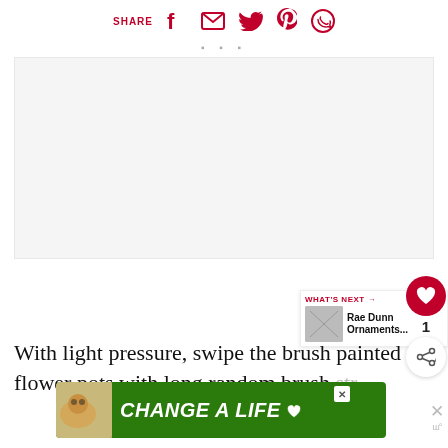SHARE [facebook] [email] [twitter] [pinterest] [whatsapp]
[Figure (photo): Blank/placeholder image area with three dots below indicating loading or slideshow]
With light pressure, swipe the brush painted flower pots with long random brush str...
[Figure (screenshot): WHAT'S NEXT -> Rae Dunn Ornaments... thumbnail panel]
[Figure (screenshot): Advertisement banner: CHANGE A LIFE with dog image, green background]